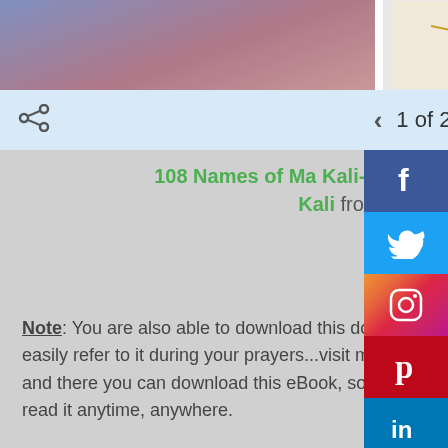[Figure (screenshot): Top image strip showing three images: left purple/pink gradient image, center image of multi-armed deity (Goddess Kali), right blue gradient image]
1 of 23
108 Names of Ma Kali- Ashtottara Shatanamavali of Goddess Kali from Maitreyi Gautam
Note: You are also able to download this document, so you can easily refer to it during your prayers...visit my slide-share page and there you can download this eBook, so you can conveniently read it anytime, anywhere.